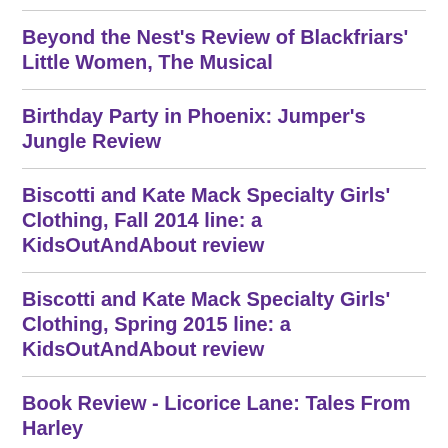Beyond the Nest's Review of Blackfriars' Little Women, The Musical
Birthday Party in Phoenix: Jumper's Jungle Review
Biscotti and Kate Mack Specialty Girls' Clothing, Fall 2014 line: a KidsOutAndAbout review
Biscotti and Kate Mack Specialty Girls' Clothing, Spring 2015 line: a KidsOutAndAbout review
Book Review - Licorice Lane: Tales From Harley